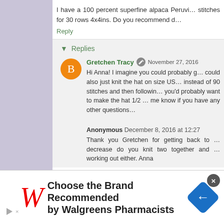I have a 100 percent superfine alpaca Peruvi... stitches for 30 rows 4x4ins. Do you recommend d...
Reply
▼ Replies
Gretchen Tracy  November 27, 2016
Hi Anna! I imagine you could probably g... could also just knit the hat on size US... instead of 90 stitches and then followin... you'd probably want to make the hat 1/2 ... me know if you have any other questions
Anonymous  December 8, 2016 at 12:27
Thank you Gretchen for getting back to ... decrease do you knit two together and ... working out either. Anna
[Figure (other): Walgreens advertisement banner: Choose the Brand Recommended by Walgreens Pharmacists]